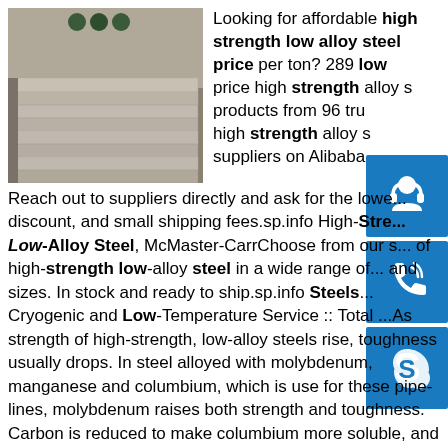[Figure (photo): Stacked steel plates in a warehouse or factory setting, grey/silver colored metal sheets piled on top of each other.]
Looking for affordable high strength low alloy steel price per ton? 289 low price high strength alloy s... products from 96 tru... high strength alloy s... suppliers on Alibaba.
Reach out to suppliers directly and ask for the lowe... discount, and small shipping fees.sp.info High-Stre... Low-Alloy Steel, McMaster-CarrChoose from our s... of high-strength low-alloy steel in a wide range of... and sizes. In stock and ready to ship.sp.info Steels... Cryogenic and Low-Temperature Service :: Total ...As strength of high-strength, low-alloy steels rise, toughness usually drops. In steel alloyed with molybdenum, manganese and columbium, which is use for these pipe-lines, molybdenum raises both strength and toughness. Carbon is reduced to make columbium more soluble, and to improve weldability and impact strength.sp.info What is